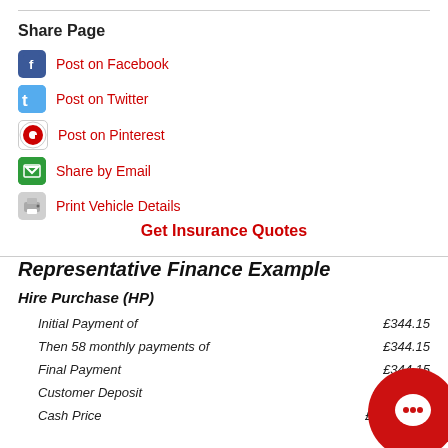Share Page
Post on Facebook
Post on Twitter
Post on Pinterest
Share by Email
Print Vehicle Details
Get Insurance Quotes
Representative Finance Example
Hire Purchase (HP)
|  |  |
| --- | --- |
| Initial Payment of | £344.15 |
| Then 58 monthly payments of | £344.15 |
| Final Payment | £344.15 |
| Customer Deposit | £1,799.00 |
| Cash Price | £17,995.00 |